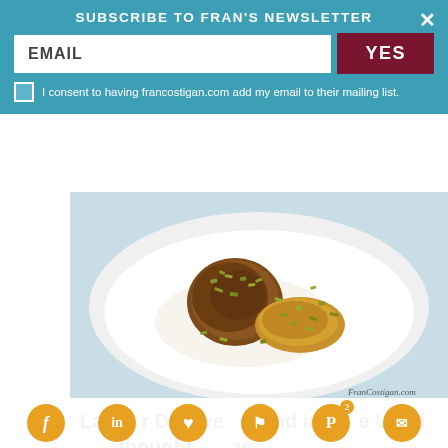SUBSCRIBE TO FRAN'S NEWSLETTER
EMAIL
YES
I consent to having francostigan.com add my email to their mailing list.
[Figure (photo): Food photo showing two pieces of caramelized fruit topped with chopped pistachios served in a white bowl with cream, watermark FranCostigan.com]
Labor Day weekend in the U.S. is thought to as
2 SHARE